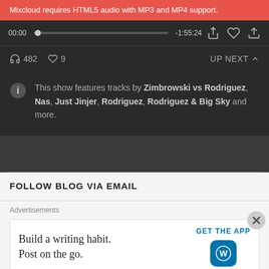Mixcloud requires HTML5 audio with MP3 and MP4 support.
00:00  -1:55:24
482  9  UP NEXT
This show features tracks by Zimbrowski vs Rodriguez, Nas, Just Jinjer, Rodriguez, Rodriguez & Big Sky and more.
FOLLOW BLOG VIA EMAIL
Advertisements
Build a writing habit. Post on the go.
GET THE APP